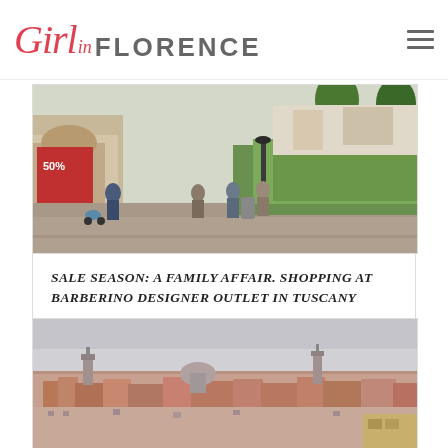Girl in FLORENCE
[Figure (photo): Outdoor shopping street at Barberino Designer Outlet, Tuscany — people walking past storefronts with awnings, green hedges and trees on right side, street lamps, overcast daylight]
SALE SEASON: A FAMILY AFFAIR. SHOPPING AT BARBERINO DESIGNER OUTLET IN TUSCANY
[Figure (photo): Aerial panoramic view of a city (Venice/Florence), terracotta rooftops, church towers, domes, overcast sky]